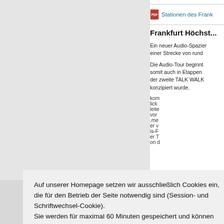[Figure (screenshot): Left gray panel area of a webpage screenshot]
Stationen des Frank...
Frankfurt Höchst...
Ein neuer Audio-Spazie... einer Strecke von rund...
Die Audio-Tour beginnt... somit auch in Etappen... der zweite TALK WALK... konzipiert wurde.
Auf unserer Homepage setzen wir ausschließlich Cookies ein, die für den Betrieb der Seite notwendig sind (Session- und Schriftwechsel-Cookie).
Sie werden für maximal 60 Minuten gespeichert und können nicht ausgeschaltet werden.

Weiterführende Informationen zu den von uns eingesetzten Cookies finden Sie in unserer Datenschutzerklärung.
OK
abgespielt werden: www...